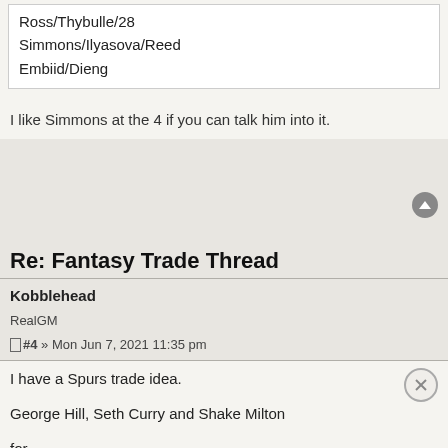Ross/Thybulle/28
Simmons/Ilyasova/Reed
Embiid/Dieng
I like Simmons at the 4 if you can talk him into it.
Re: Fantasy Trade Thread
Kobblehead
RealGM
#4 » Mon Jun 7, 2021 11:35 pm
I have a Spurs trade idea.

George Hill, Seth Curry and Shake Milton

for
Derrick White and Tre Jones
Fair deal for both teams, IMO. We cash in some shooting for guys with better shotcreating talent.